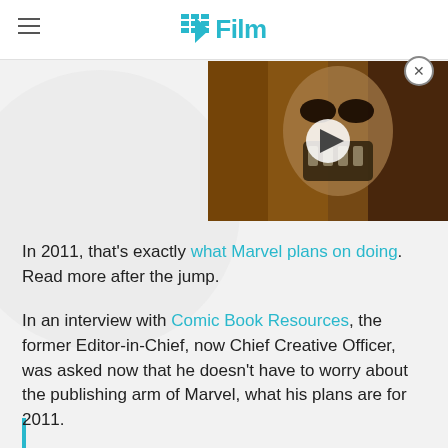/Film
[Figure (photo): A close-up of a masked/armored villain character with long reddish hair, dark eye makeup, and a skeletal-looking face mask. A play button overlay is visible in the center, indicating a video thumbnail.]
In 2011, that's exactly what Marvel plans on doing. Read more after the jump.
In an interview with Comic Book Resources, the former Editor-in-Chief, now Chief Creative Officer, was asked now that he doesn't have to worry about the publishing arm of Marvel, what his plans are for 2011.